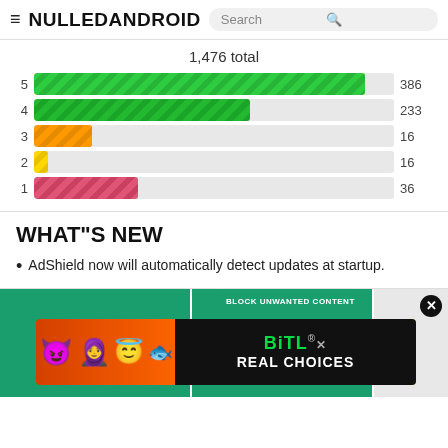≡ NULLEDANDROID  Search
[Figure (bar-chart): 1,476 total]
WHAT"S NEW
AdShield now will automatically detect updates at startup.
[Figure (advertisement): BitLife ad banner with emojis and 'REAL CHOICES' text, over green app screenshots]